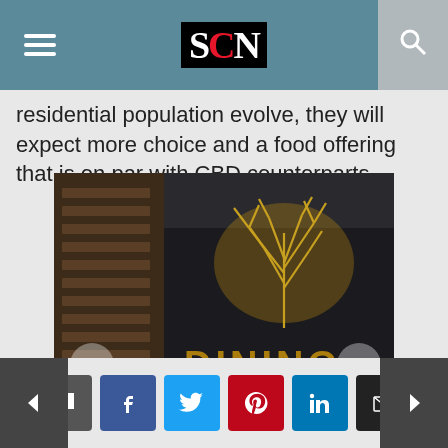SCN logo header with menu and search icons
residential population evolve, they will expect more choice and a food offering that is on par with CBD counterparts.
[Figure (photo): Interior photo of a dining precinct entrance showing a dark wall with golden 'DINING' lettering and a decorative golden tree-branch sculpture, with wooden slat panels on the left. Navigation arrows on either side.]
Navigation and social sharing buttons: back, comment, facebook, twitter, pinterest, linkedin, email, forward